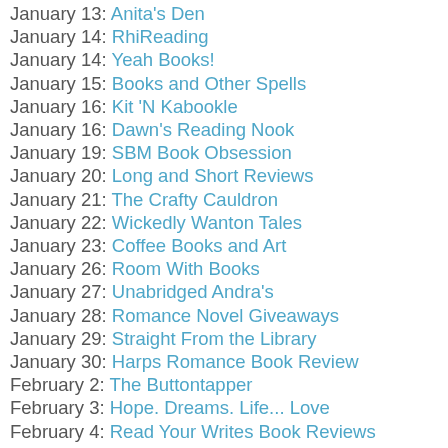January 13: Anita's Den
January 14: RhiReading
January 14: Yeah Books!
January 15: Books and Other Spells
January 16: Kit 'N Kabookle
January 16: Dawn's Reading Nook
January 19: SBM Book Obsession
January 20: Long and Short Reviews
January 21: The Crafty Cauldron
January 22: Wickedly Wanton Tales
January 23: Coffee Books and Art
January 26: Room With Books
January 27: Unabridged Andra's
January 28: Romance Novel Giveaways
January 29: Straight From the Library
January 30: Harps Romance Book Review
February 2: The Buttontapper
February 3: Hope. Dreams. Life... Love
February 4: Read Your Writes Book Reviews
February 5: CBY Book Club
February 6: The Pen and Muse Book Reviews